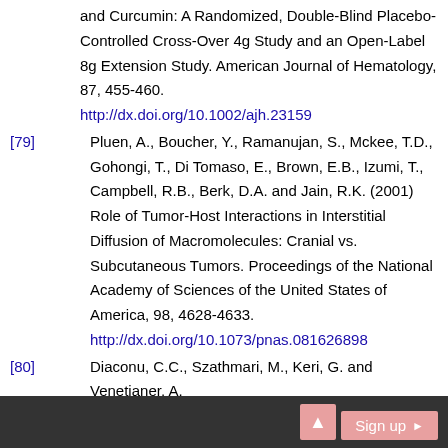and Curcumin: A Randomized, Double-Blind Placebo-Controlled Cross-Over 4g Study and an Open-Label 8g Extension Study. American Journal of Hematology, 87, 455-460.
http://dx.doi.org/10.1002/ajh.23159
[79] Pluen, A., Boucher, Y., Ramanujan, S., Mckee, T.D., Gohongi, T., Di Tomaso, E., Brown, E.B., Izumi, T., Campbell, R.B., Berk, D.A. and Jain, R.K. (2001) Role of Tumor-Host Interactions in Interstitial Diffusion of Macromolecules: Cranial vs. Subcutaneous Tumors. Proceedings of the National Academy of Sciences of the United States of America, 98, 4628-4633.
http://dx.doi.org/10.1073/pnas.081626898
[80] Diaconu, C.C., Szathmari, M., Keri, G. and Venetianer, A.
Sign up